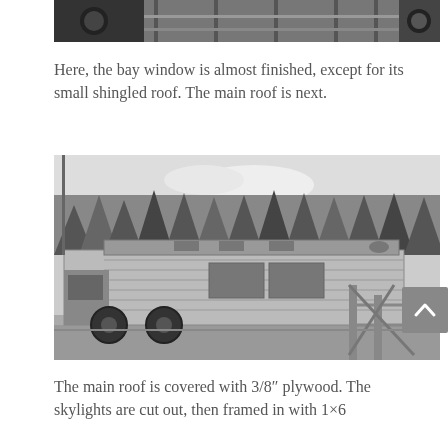[Figure (photo): Partial black and white photo at top of page showing mechanical/construction detail, likely the bay window roof being worked on]
Here, the bay window is almost finished, except for its small shingled roof. The main roof is next.
[Figure (photo): Black and white photograph of a converted bus/truck with a wooden structure built on top, parked in a field with forested hills in the background. Construction scaffolding visible on the right side.]
The main roof is covered with 3/8″ plywood. The skylights are cut out, then framed in with 1×6